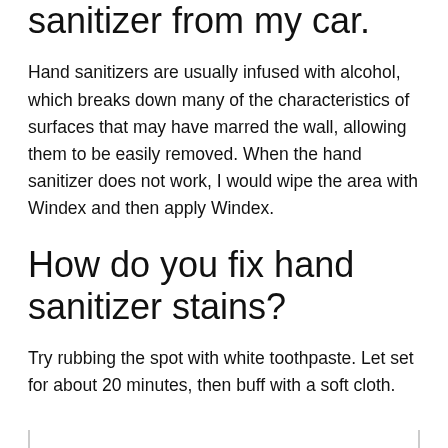sanitizer from my car.
Hand sanitizers are usually infused with alcohol, which breaks down many of the characteristics of surfaces that may have marred the wall, allowing them to be easily removed. When the hand sanitizer does not work, I would wipe the area with Windex and then apply Windex.
How do you fix hand sanitizer stains?
Try rubbing the spot with white toothpaste. Let set for about 20 minutes, then buff with a soft cloth.